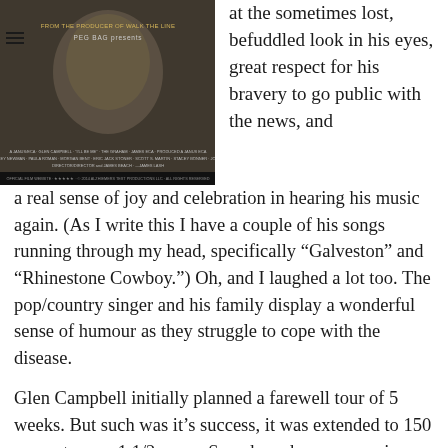[Figure (photo): Movie poster for a film about Glen Campbell, 'From the Producer of Walk the Line', showing a man's face in black and white with film credits at the bottom]
at the sometimes lost, befuddled look in his eyes, great respect for his bravery to go public with the news, and a real sense of joy and celebration in hearing his music again. (As I write this I have a couple of his songs running through my head, specifically “Galveston” and “Rhinestone Cowboy.”) Oh, and I laughed a lot too. The pop/country singer and his family display a wonderful sense of humour as they struggle to cope with the disease.
Glen Campbell initially planned a farewell tour of 5 weeks. But such was it’s success, it was extended to 150 concerts over 1 1/2 years. Somehow, because music was so deeply a part of him, he remained highly functioning on stage, even as he struggled with day to day life. But by his last performance, the Alzheimer’s